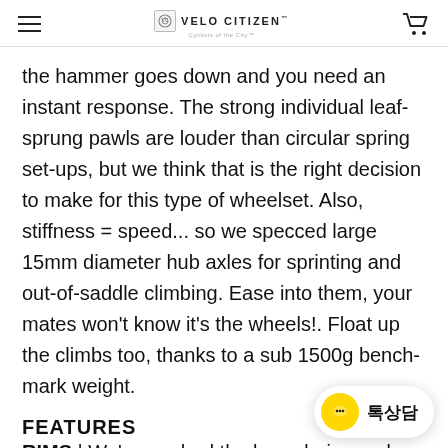VELO CITIZEN
the hammer goes down and you need an instant response. The strong individual leaf-sprung pawls are louder than circular spring set-ups, but we think that is the right decision to make for this type of wheelset. Also, stiffness = speed... so we specced large 15mm diameter hub axles for sprinting and out-of-saddle climbing. Ease into them, your mates won't know it's the wheels!. Float up the climbs too, thanks to a sub 1500g bench-mark weight.
FEATURES
RIMS | We've pushed the boundaries and added